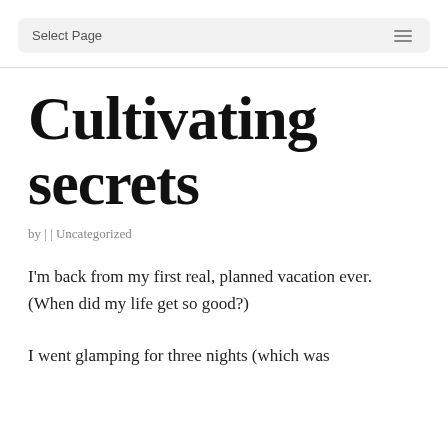Select Page
Cultivating secrets
by | | Uncategorized
I'm back from my first real, planned vacation ever. (When did my life get so good?)

I went glamping for three nights (which was